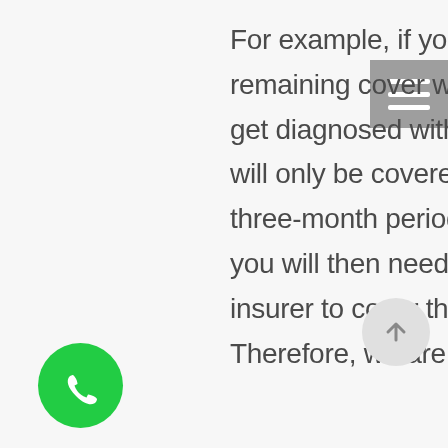For example, if you have three months remaining cover with April UK and in that time get diagnosed with an ongoing condition, you will only be covered for treatment within that three-month period not ongoing. At this point you will then need to find an alternative insurer to cover this, which is highly unlikely. Therefore, we are urging those who are